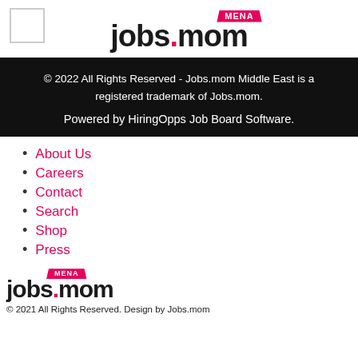[Figure (logo): jobs.mom MENA logo with pink MENA banner and checkbox square on the left]
© 2022 All Rights Reserved - Jobs.mom Middle East is a registered trademark of Jobs.mom.

Powered by HiringOpps Job Board Software.
About Us
Careers
Contact
Search
Shop
Press
[Figure (logo): jobs.mom MENA logo smaller version at bottom]
© 2021 All Rights Reserved. Design by Jobs.mom